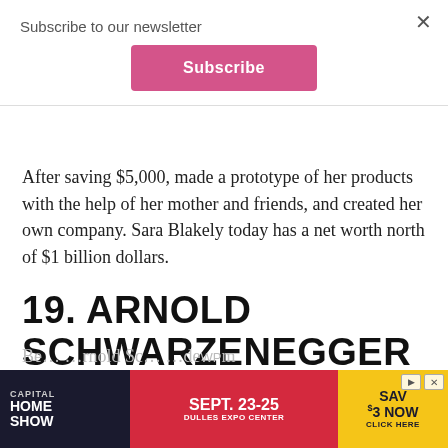Subscribe to our newsletter
Subscribe
After saving $5,000, made a prototype of her products with the help of her mother and friends, and created her own company. Sara Blakely today has a net worth north of $1 billion dollars.
19. ARNOLD SCHWARZENEGGER
[Figure (other): Advertisement banner for Capital Home Show, Sept. 23-25, Dulles Expo Center, Save $3 Now, Click Here]